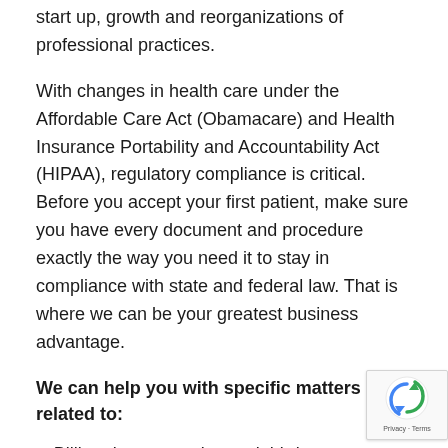start up, growth and reorganizations of professional practices.
With changes in health care under the Affordable Care Act (Obamacare) and Health Insurance Portability and Accountability Act (HIPAA), regulatory compliance is critical. Before you accept your first patient, make sure you have every document and procedure exactly the way you need it to stay in compliance with state and federal law. That is where we can be your greatest business advantage.
We can help you with specific matters related to:
Billing documentation and third-party reimbursement